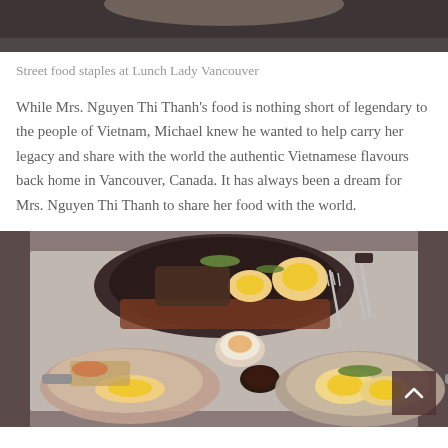[Figure (photo): Top portion of a food photo, partially cropped, showing a dark background with what appears to be a dish at the top edge.]
Street food staples at Lunch Lady Vancouver
While Mrs. Nguyen Thi Thanh's food is nothing short of legendary to the people of Vietnam, Michael knew he wanted to help carry her legacy and share with the world the authentic Vietnamese flavours back home in Vancouver, Canada. It has always been a dream for Mrs. Nguyen Thi Thanh to share her food with the world.
[Figure (photo): Overhead photograph of Vietnamese street food dishes at Lunch Lady Vancouver, showing multiple sizzling hot plates and pans with eggs, meats, herbs, and condiments on a metal table surface, with a scroll-to-top button overlay in the bottom right corner.]